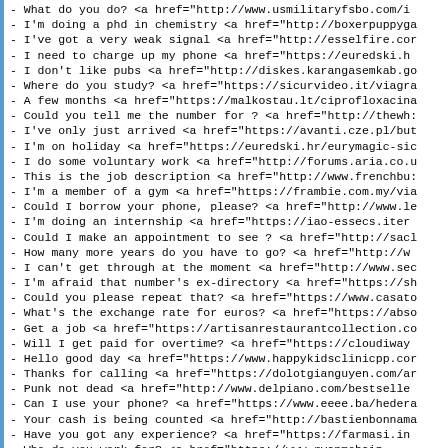- What do you do? <a href="http://www.usmilitaryfsbo.com/i
- I'm doing a phd in chemistry <a href="http://boxerpuppyga
- I've got a very weak signal <a href="http://esselfire.cor
- I need to charge up my phone <a href="https://euredski.h
- I don't like pubs <a href="http://diskes.karangasemkab.go
- Where do you study? <a href="https://sicurvideo.it/viagra
- A few months <a href="https://malkostau.lt/ciprofloxacina
- Could you tell me the number for ? <a href="http://thewh:
- I've only just arrived <a href="https://avanti.cze.pl/but
- I'm on holiday <a href="https://euredski.hr/eurymagic-sic
- I do some voluntary work <a href="http://forums.aria.co.u
- This is the job description <a href="http://www.frenchbu:
- I'm a member of a gym <a href="https://frambie.com.my/via
- Could I borrow your phone, please? <a href="http://www.le
- I'm doing an internship <a href="https://iao-essecs.iter
- Could I make an appointment to see ? <a href="http://sacl
- How many more years do you have to go? <a href="http://w
- I can't get through at the moment <a href="http://www.sec
- I'm afraid that number's ex-directory <a href="https://sh
- Could you please repeat that? <a href="https://www.casato
- What's the exchange rate for euros? <a href="https://abso
- Get a job <a href="https://artisanrestaurantcollection.co
- Will I get paid for overtime? <a href="https://cloudiway
- Hello good day <a href="https://www.happykidsclinicpp.cor
- Thanks for calling <a href="https://dolotgianguyen.com/ar
- Punk not dead  <a href="http://www.delpiano.com/bestselle
- Can I use your phone? <a href="https://www.eeee.ba/hedera
- Your cash is being counted <a href="http://bastienbonnama
- Have you got any experience? <a href="https://farmasi.in
- Who do you work for? <a href="https://www.ryanmobaip..."